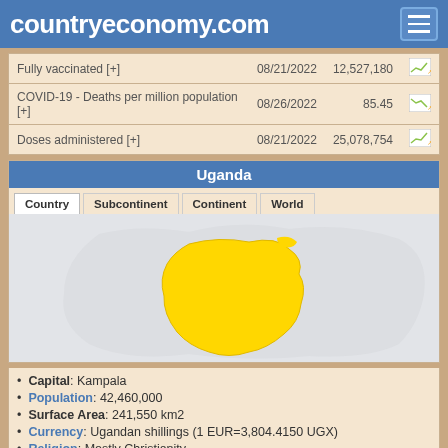countryeconomy.com
| Indicator | Date | Value |  |
| --- | --- | --- | --- |
| Fully vaccinated [+] | 08/21/2022 | 12,527,180 | chart |
| COVID-19 - Deaths per million population [+] | 08/26/2022 | 85.45 | chart |
| Doses administered [+] | 08/21/2022 | 25,078,754 | chart |
Uganda
[Figure (map): Map of Uganda highlighted in yellow on a light grey regional background]
Capital: Kampala
Population: 42,460,000
Surface Area: 241,550 km2
Currency: Ugandan shillings (1 EUR=3,804.4150 UGX)
Religion: Mostly Christianity
Belongs to: ACR, ICAD, IMF, UN, AU